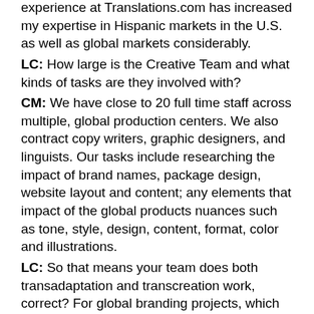experience at Translations.com has increased my expertise in Hispanic markets in the U.S. as well as global markets considerably.
LC: How large is the Creative Team and what kinds of tasks are they involved with?
CM: We have close to 20 full time staff across multiple, global production centers. We also contract copy writers, graphic designers, and linguists. Our tasks include researching the impact of brand names, package design, website layout and content; any elements that impact of the global products nuances such as tone, style, design, content, format, color and illustrations.
LC: So that means your team does both transadaptation and transcreation work, correct? For global branding projects, which skill set is needed most?
CM: Both are important. However, adapting marketing messages has more to do preserving the concept (of the message) and changing the execution than with word for word translations. The example on “The Lighter Side”